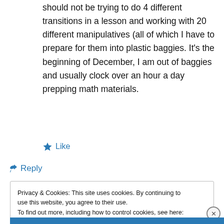should not be trying to do 4 different transitions in a lesson and working with 20 different manipulatives (all of which I have to prepare for them into plastic baggies. It’s the beginning of December, I am out of baggies and usually clock over an hour a day prepping math materials.
★ Like
↪ Reply
Privacy & Cookies: This site uses cookies. By continuing to use this website, you agree to their use.
To find out more, including how to control cookies, see here: Cookie Policy